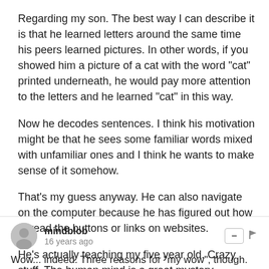Regarding my son. The best way I can describe it is that he learned letters around the same time his peers learned pictures. In other words, if you showed him a picture of a cat with the word "cat" printed underneath, he would pay more attention to the letters and he learned "cat" in this way.
Now he decodes sentences. I think his motivation might be that he sees some familiar words mixed with unfamiliar ones and I think he wants to make sense of it somehow.
That's my guess anyway. He can also navigate on the computer because he has figured out how to read the buttons or links on websites.
He's actually teaching my five year old. Crazy stuff. The human mind is a great mystery.
mindblob
16 years ago
Wow... indeed. Three reasons for "my wow", though. First... reading your article once again high jacked my thoughts from